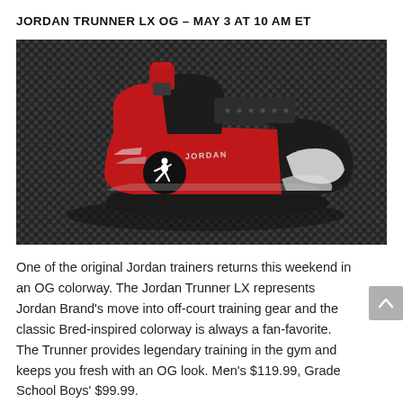JORDAN TRUNNER LX OG – MAY 3 AT 10 AM ET
[Figure (photo): Jordan Trunner LX OG sneaker displayed on a dark woven/mesh textured background. The shoe features a red and black colorway with white accents on the toe, a red Velcro strap with the Jumpman logo in a circle on the side, and a black upper with white patches on the toe box.]
One of the original Jordan trainers returns this weekend in an OG colorway. The Jordan Trunner LX represents Jordan Brand's move into off-court training gear and the classic Bred-inspired colorway is always a fan-favorite. The Trunner provides legendary training in the gym and keeps you fresh with an OG look. Men's $119.99, Grade School Boys' $99.99.